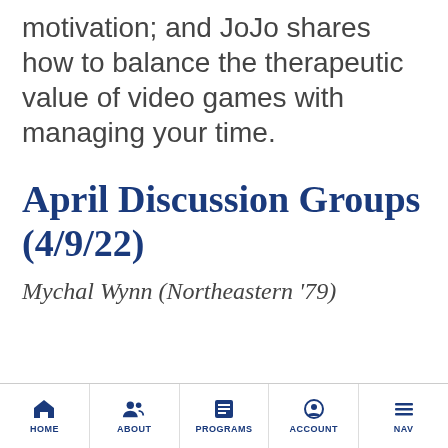motivation; and JoJo shares how to balance the therapeutic value of video games with managing your time.
April Discussion Groups (4/9/22)
Mychal Wynn (Northeastern '79)
HOME   ABOUT   PROGRAMS   ACCOUNT   NAV